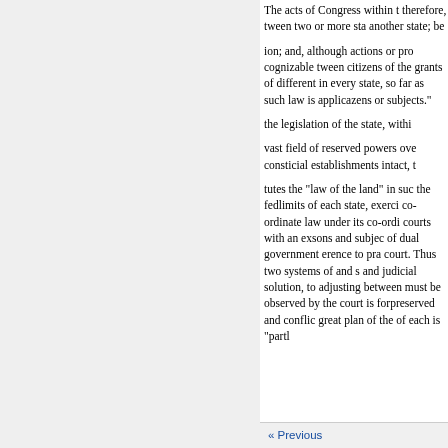The acts of Congress within the therefore, tween two or more sta another state; be
ion; and, although actions or pro cognizable tween citizens of the grants of different in every state, so far as such law is applicazens or subjects."
the legislation of the state, withi
vast field of reserved powers ove consticial establishments intact, t
tutes the "law of the land" in suc the fedlimits of each state, exerci co-ordinate law under its co-ordi courts with an exsons and subjec of dual government erence to pra court. Thus two systems of and s and judicial solution, to adjusting between must be observed by the court is forpreserved and conflic great plan of the of each is "partl
« Previous